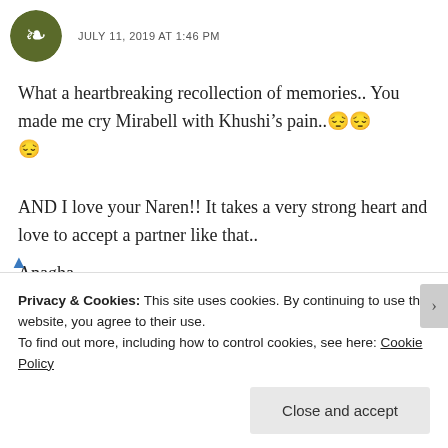JULY 11, 2019 AT 1:46 PM
What a heartbreaking recollection of memories.. You made me cry Mirabell with Khushi’s pain.. 😔😔 😔
AND I love your Naren!! It takes a very strong heart and love to accept a partner like that..
Anagha
Privacy & Cookies: This site uses cookies. By continuing to use this website, you agree to their use. To find out more, including how to control cookies, see here: Cookie Policy
Close and accept